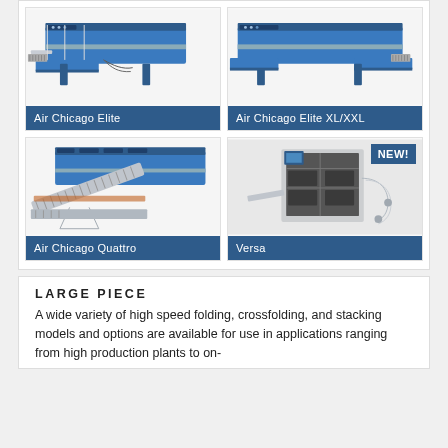[Figure (photo): Air Chicago Elite folding machine - blue industrial laundry folding equipment]
Air Chicago Elite
[Figure (photo): Air Chicago Elite XL/XXL folding machine - larger blue industrial laundry folding equipment]
Air Chicago Elite XL/XXL
[Figure (photo): Air Chicago Quattro folding machine - large blue industrial laundry folding equipment with multiple conveyors]
Air Chicago Quattro
[Figure (photo): Versa folding machine - gray/white industrial folding equipment, marked NEW!]
Versa
LARGE PIECE
A wide variety of high speed folding, crossfolding, and stacking models and options are available for use in applications ranging from high production plants to on-